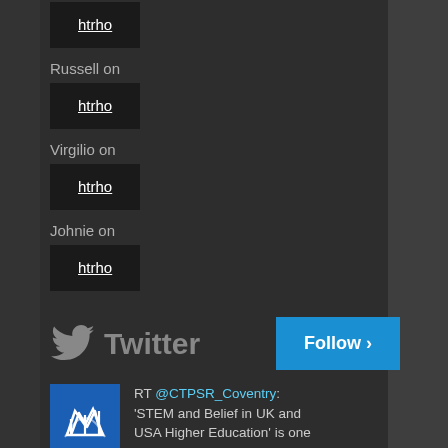Russell on
htrho
Virgilio on
htrho
Johnie on
htrho
[Figure (logo): Twitter logo and text with Follow button]
[Figure (logo): CTPSR Coventry blue flame logo avatar]
RT @CTPSR_Coventry: 'STEM and Belief in UK and USA Higher Education' is one